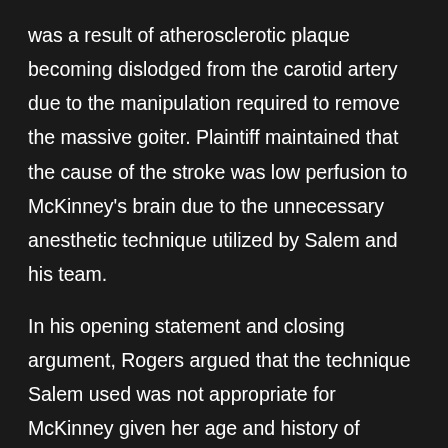was a result of atherosclerotic plaque becoming dislodged from the carotid artery due to the manipulation required to remove the massive goiter. Plaintiff maintained that the cause of the stroke was low perfusion to McKinney's brain due to the unnecessary anesthetic technique utilized by Salem and his team.
In his opening statement and closing argument, Rogers argued that the technique Salem used was not appropriate for McKinney given her age and history of diabetes and chronic high blood pressure. The defense insisted that deliberate hypotension was acceptable to use on McKinney and that the professional literature does not